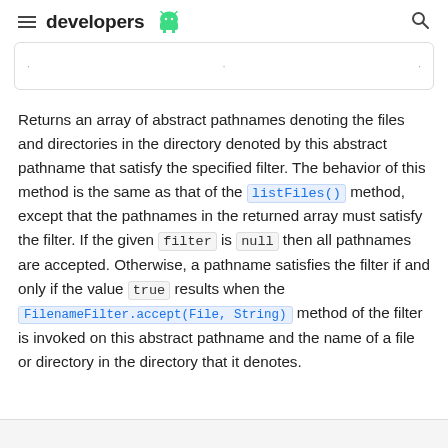developers [Android logo]
Returns an array of abstract pathnames denoting the files and directories in the directory denoted by this abstract pathname that satisfy the specified filter. The behavior of this method is the same as that of the listFiles() method, except that the pathnames in the returned array must satisfy the filter. If the given filter is null then all pathnames are accepted. Otherwise, a pathname satisfies the filter if and only if the value true results when the FilenameFilter.accept(File, String) method of the filter is invoked on this abstract pathname and the name of a file or directory in the directory that it denotes.